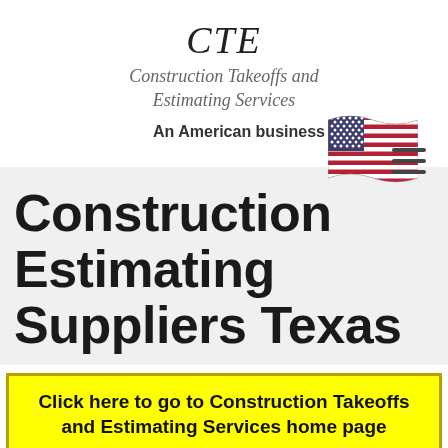CTE
Construction Takeoffs and Estimating Services
An American business
[Figure (illustration): Waving American flag emoji/graphic]
[Figure (other): Hamburger menu icon (three horizontal lines)]
Construction Estimating Suppliers Texas
Click here to go to Construction Takeoffs and Estimating Services home page